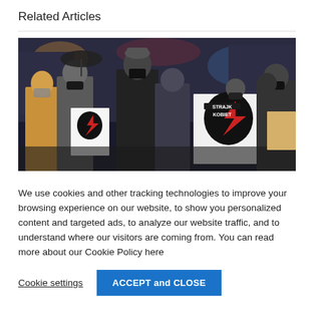Related Articles
[Figure (photo): Group of people wearing face masks holding protest signs that read 'Strajk Kobiet' (Women's Strike), standing outdoors at night in a city street.]
We use cookies and other tracking technologies to improve your browsing experience on our website, to show you personalized content and targeted ads, to analyze our website traffic, and to understand where our visitors are coming from. You can read more about our Cookie Policy here
Cookie settings
ACCEPT and CLOSE